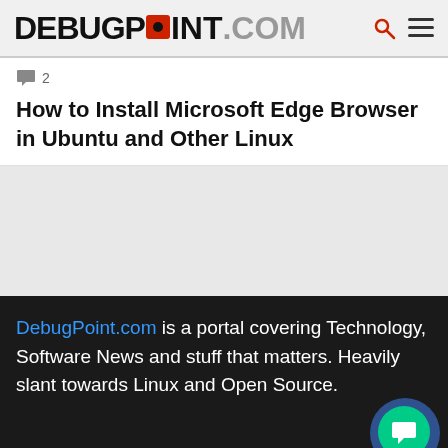DEBUGPOINT.COM
2
How to Install Microsoft Edge Browser in Ubuntu and Other Linux
[Figure (other): Advertisement/gray placeholder area]
DebugPoint.com is a portal covering Technology, Software News and stuff that matters. Heavily slant towards Linux and Open Source.